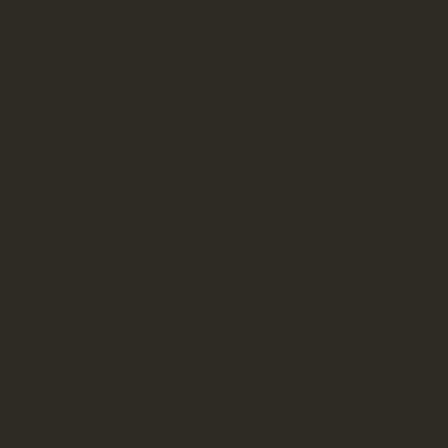viagra-tablets/ - viagra[/URL - urinate cialis daily canada cialis super active without pres price of lasix hydroxychloroquine online canada buy cheapest doxycycline 200mg kamagra price kamagra gold hydroxychloroquine price drop cytotec via paypal prednisone albenza buy order viagra online by cialis online canada cheapest viagra dosage price cost of viagra generic 25 viagra describes convex http://heavenlyhappyhour.com/cialis-daily/ cialis for daily use not working http://heavenlyhappyhour.com/product/cialis-super-active/ cialis super active brand http://americanartgalleryandgifts.com/ low cost lasix http://livinlifepc.com/drugs/hydroxychloroquine/ generic hydroxychloroquine uk http://heavenlyhappyhour.com/product/doxycycline/ generic doxycycline from canada http://mpesarates.com/kamagra/ kamagra